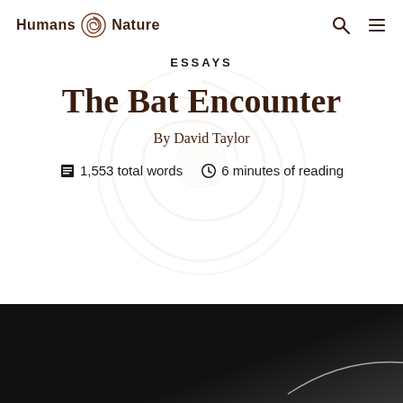Humans & Nature
ESSAYS
The Bat Encounter
By David Taylor
1,553 total words  6 minutes of reading
[Figure (photo): Dark black image at the bottom of the page, likely showing a bat or night scene with a faint white curved line]